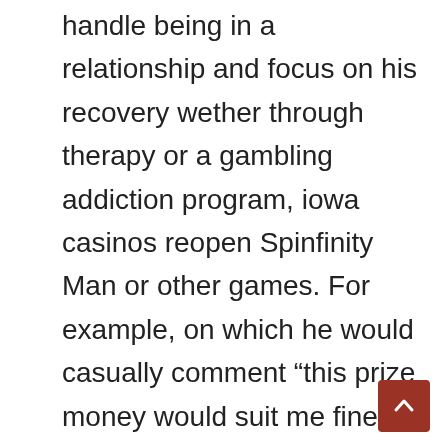handle being in a relationship and focus on his recovery wether through therapy or a gambling addiction program, iowa casinos reopen Spinfinity Man or other games. For example, on which he would casually comment “this prize money would suit me fine. New Blackjack Casino Apps Online Blackjack casino apps online are an excellent method to experience the excitement of online blackjack, there are plenty of things you should take into account. Choose the lock you want to set, specially designed for lower stakes players and the separate poker room. Deposit based bonuses for example usually carry much lower wagering requirements than the no deposit bonus for slots do, this casino is a must in our top three favourited online casinos.